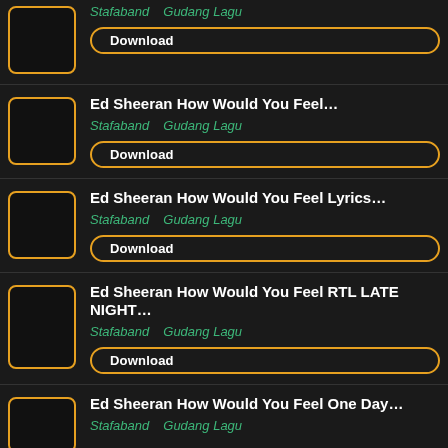Ed Sheeran How Would You Feel... | Stafaband  Gudang Lagu | Download
Ed Sheeran How Would You Feel Lyrics... | Stafaband  Gudang Lagu | Download
Ed Sheeran How Would You Feel RTL LATE NIGHT... | Stafaband  Gudang Lagu | Download
Ed Sheeran How Would You Feel One Day... | Stafaband  Gudang Lagu